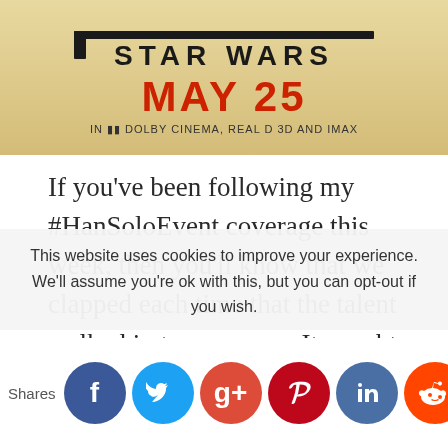[Figure (photo): Star Wars movie poster showing MAY 25 in red text, IN DOLBY CINEMA, REAL D 3D AND IMAX text below, on a tan/gold background]
If you've been following my #HanSoloEvent coverage this week, then you'll know that we clapped each time that the talent walked in to our room. It caught more than a few of them off guard, and Paul Bettany was no different. His reaction? With a huge smile on his face, he said,
This website uses cookies to improve your experience. We'll assume you're ok with this, but you can opt-out if you wish.
Shares